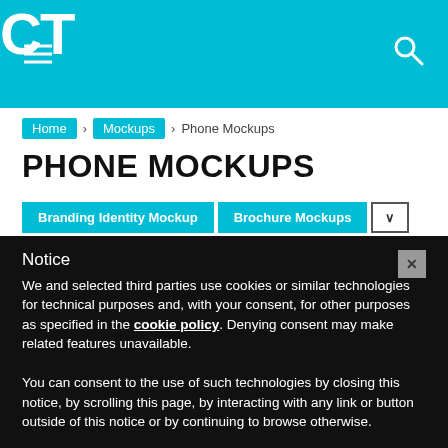CT
Home › Mockups › Phone Mockups
PHONE MOCKUPS
Branding Identity Mockup   Brochure Mockups   ∨
[Figure (photo): Partial view of a white smartphone mockup with teal number '01' on a light grey background]
Notice
We and selected third parties use cookies or similar technologies for technical purposes and, with your consent, for other purposes as specified in the cookie policy. Denying consent may make related features unavailable.
You can consent to the use of such technologies by closing this notice, by scrolling this page, by interacting with any link or button outside of this notice or by continuing to browse otherwise.